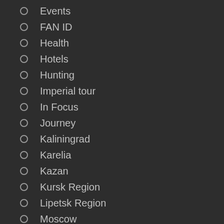Events
FAN ID
Health
Hotels
Hunting
Imperial tour
In Focus
Journey
Kaliningrad
Karelia
Kazan
Kursk Region
Lipetsk Region
Moscow
Mountaineering
News
News